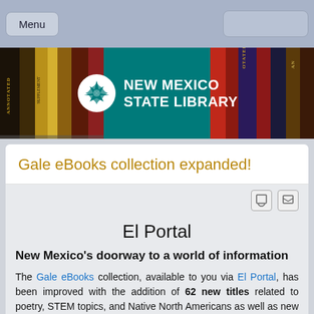Menu
[Figure (screenshot): New Mexico State Library header banner with logo, teal background, and book spines on left and right]
Gale eBooks collection expanded!
El Portal
New Mexico's doorway to a world of information
The Gale eBooks collection, available to you via El Portal, has been improved with the addition of 62 new titles related to poetry, STEM topics, and Native North Americans as well as new titles in Spanish. The Native American titles focus on Southwest tribes. The STEM and Spanish titles focus on environmental and global issues as well as engineering, animals, biomass, and plants, most of which are for